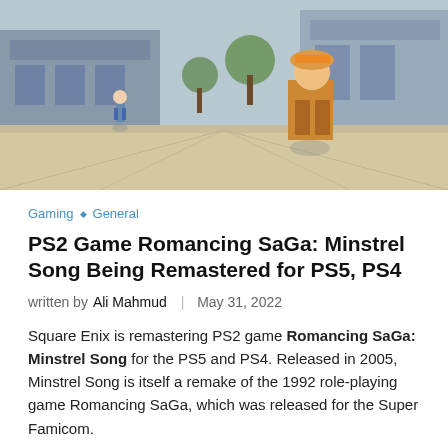[Figure (screenshot): Screenshot from Romancing SaGa: Minstrel Song remastered game showing characters in a town/outdoor setting with anime-style art]
Gaming ◇ General
PS2 Game Romancing SaGa: Minstrel Song Being Remastered for PS5, PS4
written by Ali Mahmud | May 31, 2022
Square Enix is remastering PS2 game Romancing SaGa: Minstrel Song for the PS5 and PS4. Released in 2005, Minstrel Song is itself a remake of the 1992 role-playing game Romancing SaGa, which was released for the Super Famicom.
Romancing SaGa: Minstrel Song Remastered will come with new features